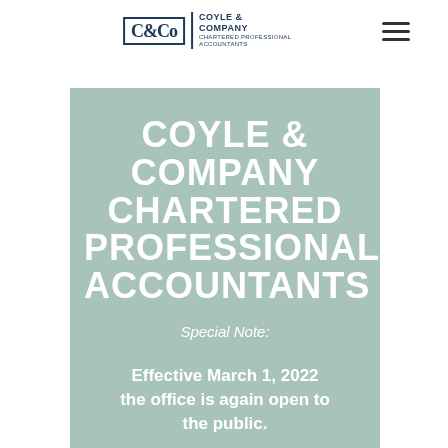C&Co COYLE & COMPANY CHARTERED PROFESSIONAL ACCOUNTANTS
COYLE & COMPANY CHARTERED PROFESSIONAL ACCOUNTANTS
Special Note:
Effective March 1, 2022 the office is again open to the public.